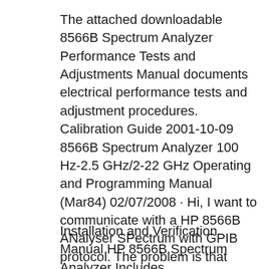The attached downloadable 8566B Spectrum Analyzer Performance Tests and Adjustments Manual documents electrical performance tests and adjustment procedures. Calibration Guide 2001-10-09 8566B Spectrum Analyzer 100 Hz-2.5 GHz/2-22 GHz Operating and Programming Manual (Mar84) 02/07/2008 · Hi, I want to communicate with a HP 8566B ANalyser SPectrum with GPIB protocol. The problem is that there is only a HPIB port on this device. Is it possible to communicate with my NI PCI-GPIB card? Thanks, Pierre
Installation and Verification Manual HP 8566B Spectrum Analyzer Includes